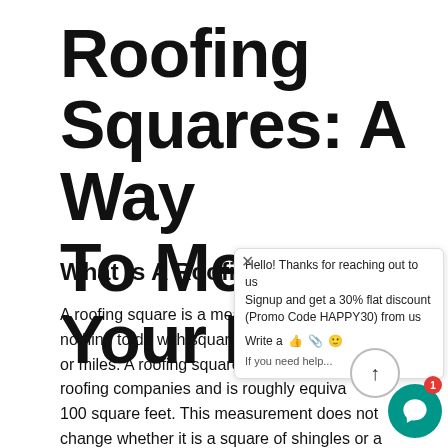Roofing Squares: A Way To Measure Your Roof
What Is A Roofing Square?
A roofing square is a measurement, but it has nothing to do with square feet, meters, yards, or miles. A roofing square is commonly used by roofing companies and is roughly equivalent to 100 square feet. This measurement does not change whether it is a square of shingles or a square of any other material. This is the same for...